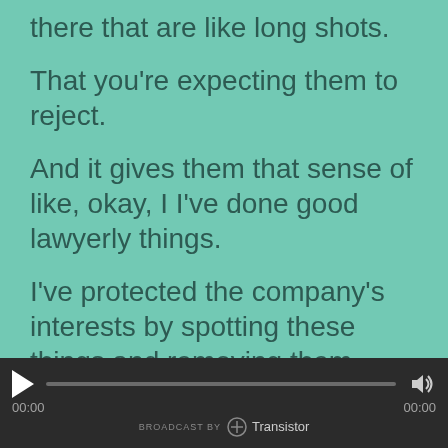there that are like long shots.
That you're expecting them to reject.
And it gives them that sense of like, okay, I I've done good lawyerly things.
I've protected the company's interests by spotting these things and removing them.
And then some of them will get through, sometimes I put clauses in
there that are like at their level.
[Figure (other): Audio player bar with play button, progress bar, volume icon, timestamps 00:00 and 00:00, and Transistor broadcast attribution.]